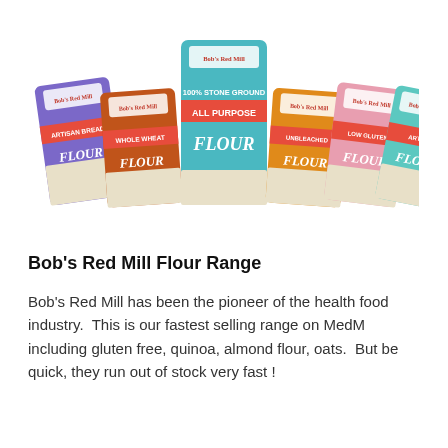[Figure (photo): Six Bob's Red Mill flour bags arranged in a fan/arc display. From left to right: purple (Artisan Bread Flour), orange-red (Whole Wheat Flour), blue/teal (All Purpose Flour, tallest in center), orange (unbleached flour), pink (low-gluten flour), teal/aqua (another flour variety). All bags show the Bob's Red Mill logo.]
Bob's Red Mill Flour Range
Bob's Red Mill has been the pioneer of the health food industry.  This is our fastest selling range on MedM including gluten free, quinoa, almond flour, oats.  But be quick, they run out of stock very fast !